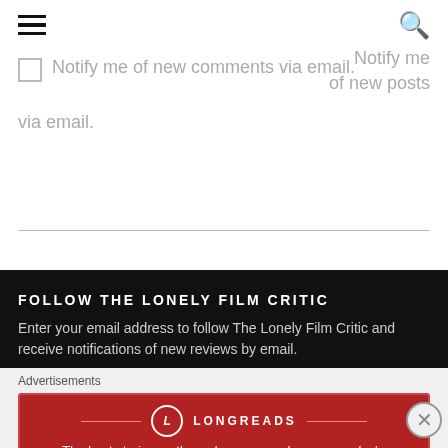☰ [hamburger menu] [search icon]
Notify me of new comments via email.
Notify me of new posts via email.
FOLLOW THE LONELY FILM CRITIC
Enter your email address to follow The Lonely Film Critic and receive notifications of new reviews by email.
Advertisements
[Figure (other): Longreads advertisement banner: red background, Longreads logo with circle L icon, tagline 'The best stories on the web – ours, and everyone else's.' with close button.]